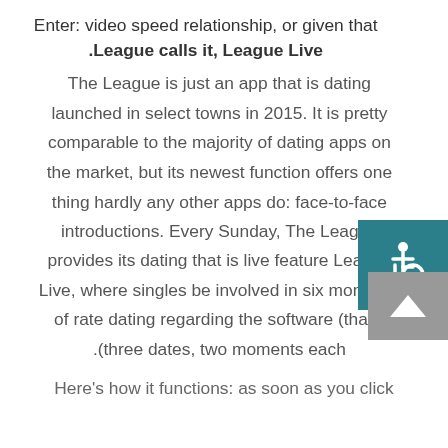Enter: video speed relationship, or given that League calls it, League Live.
The League is just an app that is dating launched in select towns in 2015. It is pretty comparable to the majority of dating apps on the market, but its newest function offers one thing hardly any other apps do: face-to-face introductions. Every Sunday, The League provides its dating that is live feature League Live, where singles be involved in six moments of rate dating regarding the software (that's three dates, two moments each).
Here's how it functions: as soon as you click